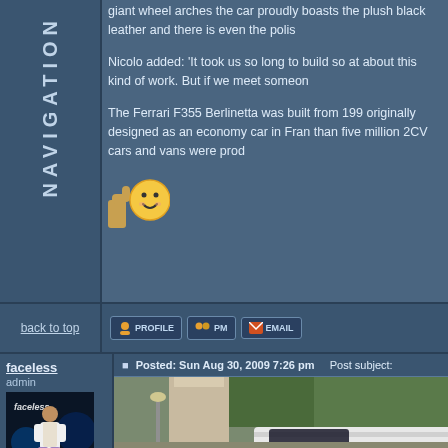giant wheel arches the car proudly boasts the plush black leather and there is even the polis
Nicolo added: 'It took us so long to build so at about this kind of work. But if we meet someon
The Ferrari F355 Berlinetta was built from 199 originally designed as an economy car in Fran than five million 2CV cars and vans were prod
[Figure (illustration): Thumbs up smiley face emoji]
back to top
PROFILE  PM  EMAIL
faceless
admin
Posted: Sun Aug 30, 2009 7:26 pm    Post subject:
[Figure (photo): Car photograph showing white/silver car roof near stone pillar and green trees in background]